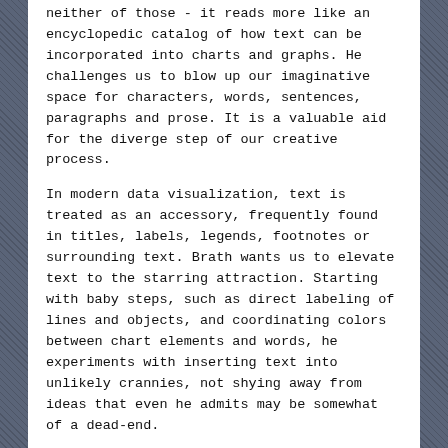neither of those - it reads more like an encyclopedic catalog of how text can be incorporated into charts and graphs. He challenges us to blow up our imaginative space for characters, words, sentences, paragraphs and prose. It is a valuable aid for the diverge step of our creative process.
In modern data visualization, text is treated as an accessory, frequently found in titles, labels, legends, footnotes or surrounding text. Brath wants us to elevate text to the starring attraction. Starting with baby steps, such as direct labeling of lines and objects, and coordinating colors between chart elements and words, he experiments with inserting text into unlikely crannies, not shying away from ideas that even he admits may be somewhat of a dead-end.
One of the more immediately useful examples is the use of text labels that hug the lines on a line chart, similar to how roads and rivers are labeled on maps. I wish all software developers implement this function without